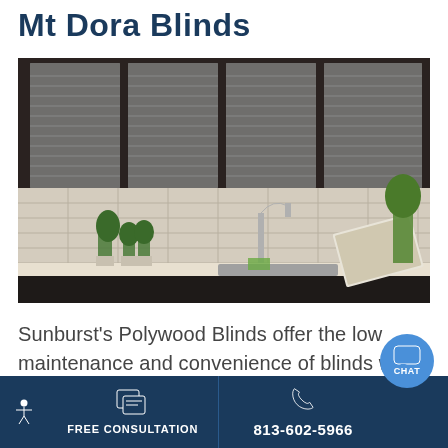Mt Dora Blinds
[Figure (photo): Modern kitchen with dark wood cabinets, horizontal venetian/polywood blinds on four windows above the counter, stone tile backsplash, stainless steel faucet, small potted herb plants, and an open cookbook.]
Sunburst's Polywood Blinds offer the low maintenance and convenience of blinds with the clean looks and resilience of Polywood. Offeri
FREE CONSULTATION    813-602-5966    CHAT